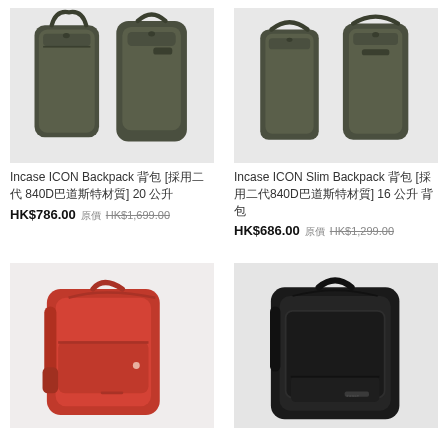[Figure (photo): Olive/dark green Incase ICON backpack, front and side view]
Incase ICON Backpack 背包 [採用二代 840D巴道斯特材質] 20 公升
HK$786.00 原價 HK$1,699.00
[Figure (photo): Olive/dark green Incase ICON Slim backpack, front view]
Incase ICON Slim Backpack 背包 [採用二代840D巴道斯特材質] 16 公升 背包
HK$686.00 原價 HK$1,299.00
[Figure (photo): Red Incase backpack, front and side view]
[Figure (photo): Black Incase ICON backpack, front view]